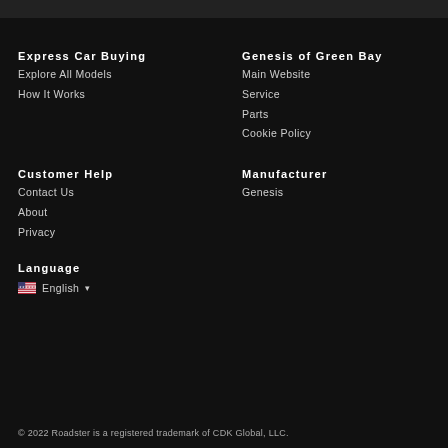Express Car Buying
Explore All Models
How It Works
Genesis of Green Bay
Main Website
Service
Parts
Cookie Policy
Customer Help
Contact Us
About
Privacy
Manufacturer
Genesis
Language
🇺🇸 English ▾
© 2022 Roadster is a registered trademark of CDK Global, LLC.